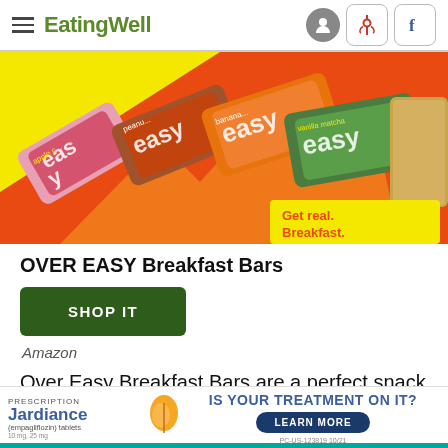EatingWell
[Figure (photo): Advertisement image for OVER EASY Breakfast Bars showing multiple colorful bar packages (apple cinnamon, peanut butter, banana, vanilla matcha) on a yellow and orange background with text 'Get real. Breakfast.']
OVER EASY Breakfast Bars
SHOP IT
Amazon
Over Easy Breakfast Bars are a perfect snack for any time of day. Each bar has 9g of protein and 7g of fiber...
[Figure (advertisement): Jardiance prescription medication advertisement: 'IS YOUR TREATMENT ON IT?' with LEARN MORE button and PC-US-123819 10/21 code]